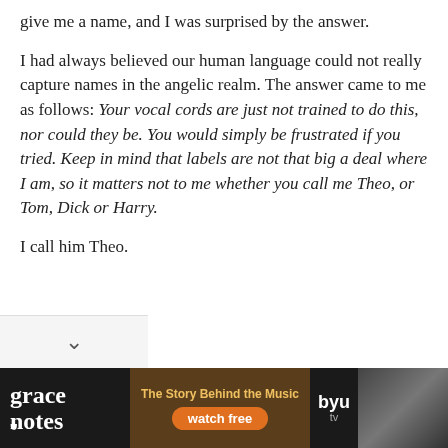give me a name, and I was surprised by the answer.
I had always believed our human language could not really capture names in the angelic realm. The answer came to me as follows: Your vocal cords are just not trained to do this, nor could they be. You would simply be frustrated if you tried. Keep in mind that labels are not that big a deal where I am, so it matters not to me whether you call me Theo, or Tom, Dick or Harry.
I call him Theo.
[Figure (screenshot): Advertisement banner for Grace Notes - The Story Behind the Music, watch free on BYU TV, with photos of musicians]